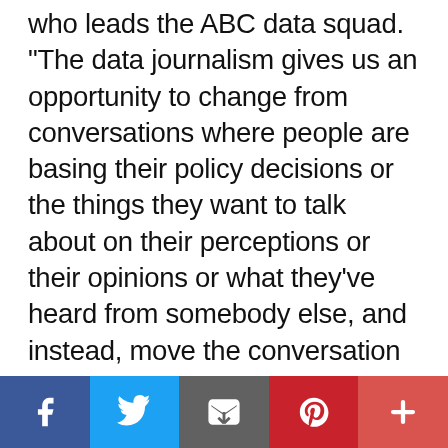who leads the ABC data squad. "The data journalism gives us an opportunity to change from conversations where people are basing their policy decisions or the things they want to talk about on their perceptions or their opinions or what they’ve heard from somebody else, and instead, move the conversation into something that we think the viewers are hungry for, which is hard, irrefutable data. In an era of an avalanche of misinformation, [these are] numbers that people can get their arms around and understand, which led us to this Equity Report concept in all of our communities."
[Figure (infographic): Social share bar with five buttons: Facebook (blue), Twitter (light blue), Email (dark grey), Pinterest (red), More (orange-red)]